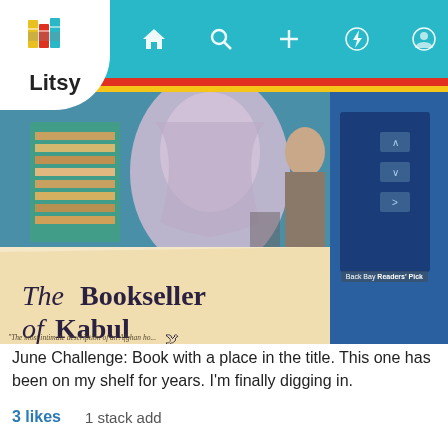[Figure (screenshot): Litsy app navigation bar with logo showing stacked colorful books and the word Litsy, and nav icons for home, search, add, notifications, and profile on teal background]
[Figure (photo): Photo of the book 'The Bookseller of Kabul' showing the cover with a figure in a light purple garment, a bookstore interior, and another person on the right. Badge reads 'Back Bay Readers' Pick'. Subtitle text: 'The most intimate description of an Afghan h... journalist.... Scierstad is a ch...']
June Challenge: Book with a place in the title. This one has been on my shelf for years. I'm finally digging in.
3 likes    1 stack add